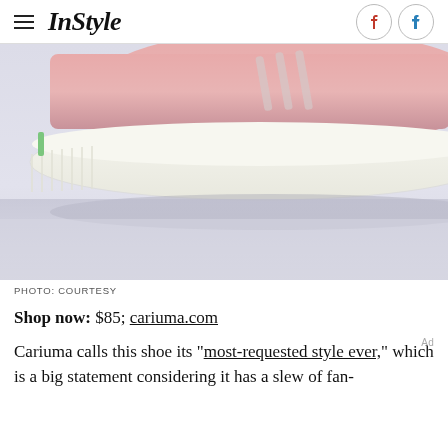InStyle
[Figure (photo): Close-up of a pink sneaker sole/midsole area with white rubber sole, light purple/grey background]
PHOTO: COURTESY
Shop now: $85; cariuma.com
Cariuma calls this shoe its "most-requested style ever," which is a big statement considering it has a slew of fan-